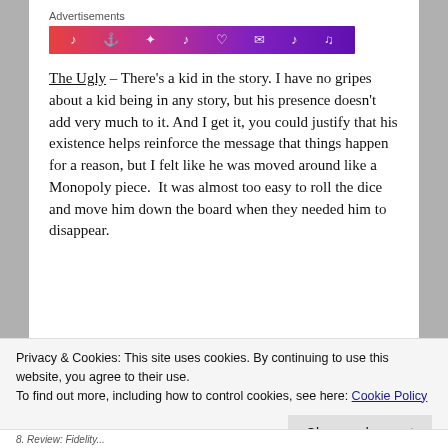[Figure (other): Advertisement banner with gradient from red to purple containing small white icons]
The Ugly – There's a kid in the story. I have no gripes about a kid being in any story, but his presence doesn't add very much to it. And I get it, you could justify that his existence helps reinforce the message that things happen for a reason, but I felt like he was moved around like a Monopoly piece. It was almost too easy to roll the dice and move him down the board when they needed him to disappear.
Privacy & Cookies: This site uses cookies. By continuing to use this website, you agree to their use.
To find out more, including how to control cookies, see here: Cookie Policy
Close and accept